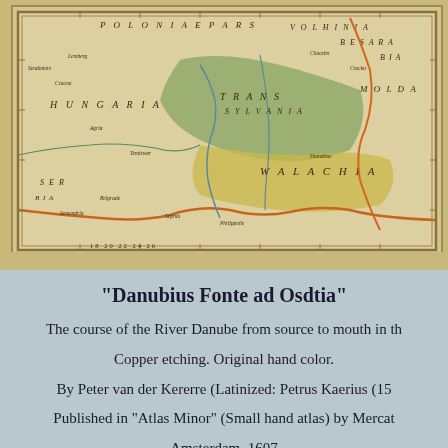[Figure (map): Antique hand-colored copper etching map showing the course of the River Danube region, including labeled regions such as HUNGARIA, WALACHIA, MOLDAVIA, POLONIA, TRANSYLVANIA, and BESSARABIA. The map shows rivers, towns, and geographic features with original hand coloring in greens, yellows, and oranges.]
"Danubius Fonte ad Osdtia"
The course of the River Danube from source to mouth in th
Copper etching. Original hand color.
By Peter van der Kererre (Latinized: Petrus Kaerius (15
Published in "Atlas Minor" (Small hand atlas) by Mercat
Amsterdam, 1607
Minor signs of age and use in margins. Hardly visible ver